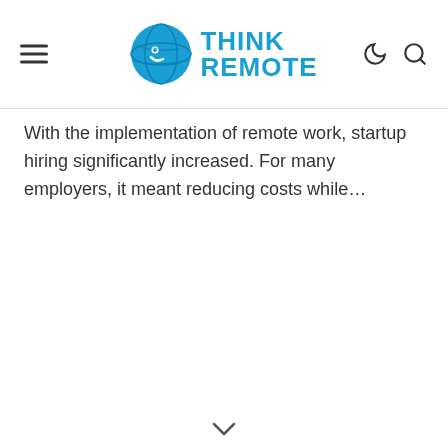Think Remote
With the implementation of remote work, startup hiring significantly increased. For many employers, it meant reducing costs while…
v